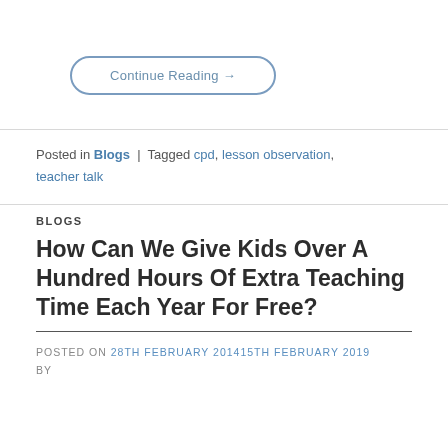Continue Reading →
Posted in Blogs | Tagged cpd, lesson observation, teacher talk
BLOGS
How Can We Give Kids Over A Hundred Hours Of Extra Teaching Time Each Year For Free?
POSTED ON 28TH FEBRUARY 201415TH FEBRUARY 2019
BY